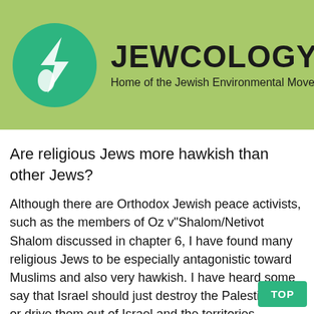[Figure (logo): Jewcology.org website header banner with green background, circular green logo with white leaf/drop icon, site title JEWCOLOGY.ORG in bold black, subtitle: Home of the Jewish Environmental Movement]
Are religious Jews more hawkish than other Jews?
Although there are Orthodox Jewish peace activists, such as the members of Oz v"Shalom/Netivot Shalom discussed in chapter 6, I have found many religious Jews to be especially antagonistic toward Muslims and also very hawkish. I have heard some say that Israel should just destroy the Palestinians or drive them out of Israel and the territories altogether. Several Orthodox Jews have told me that the